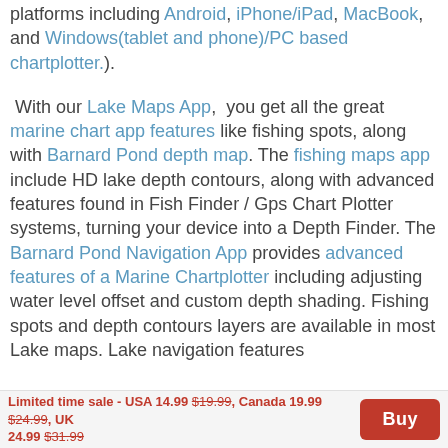platforms including Android, iPhone/iPad, MacBook, and Windows(tablet and phone)/PC based chartplotter.).
With our Lake Maps App, you get all the great marine chart app features like fishing spots, along with Barnard Pond depth map. The fishing maps app include HD lake depth contours, along with advanced features found in Fish Finder / Gps Chart Plotter systems, turning your device into a Depth Finder. The Barnard Pond Navigation App provides advanced features of a Marine Chartplotter including adjusting water level offset and custom depth shading. Fishing spots and depth contours layers are available in most Lake maps. Lake navigation features
Limited time sale - USA 14.99 $19.99, Canada 19.99 $24.99, UK 24.99 $31.99